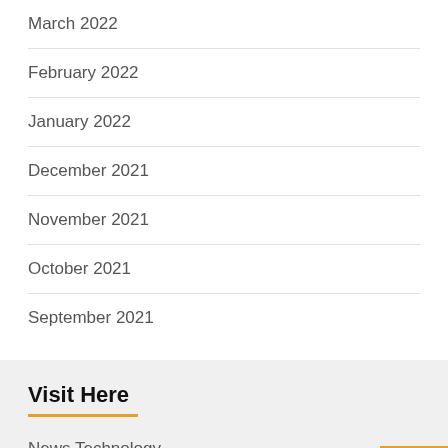March 2022
February 2022
January 2022
December 2021
November 2021
October 2021
September 2021
Visit Here
News Technology
Categories